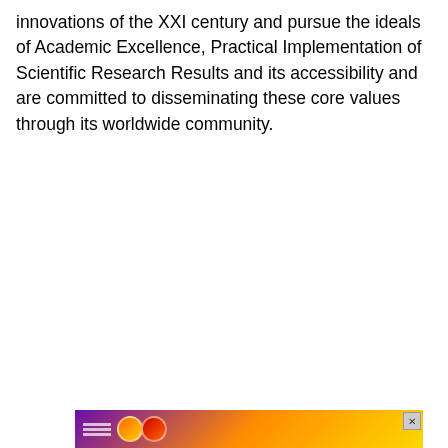innovations of the XXI century and pursue the ideals of Academic Excellence, Practical Implementation of Scientific Research Results and its accessibility and are committed to disseminating these core values through its worldwide community.
[Figure (other): Advertisement banner with colorful gradient background (purple, orange, gold) with decorative lines and circular icons, and a close button (x) in the top right corner.]